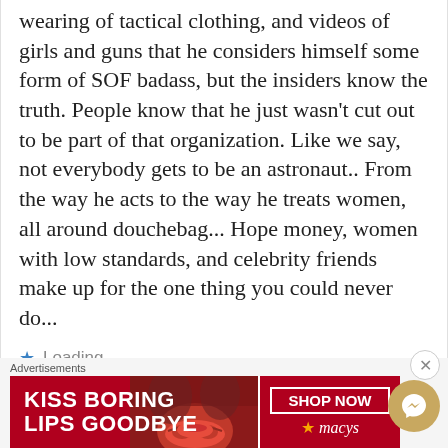wearing of tactical clothing, and videos of girls and guns that he considers himself some form of SOF badass, but the insiders know the truth. People know that he just wasn't cut out to be part of that organization. Like we say, not everybody gets to be an astronaut.. From the way he acts to the way he treats women, all around douchebag... Hope money, women with low standards, and celebrity friends make up for the one thing you could never do...
Loading...
Advertisements
[Figure (other): Red advertisement banner for Macy's featuring text 'KISS BORING LIPS GOODBYE' on a dark red background with a 'SHOP NOW' button and Macy's star logo]